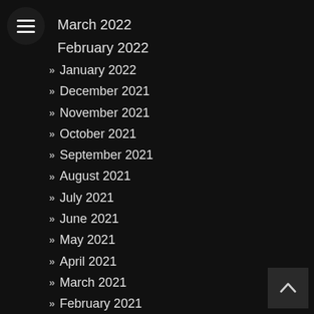[Figure (other): Hamburger menu icon — three white horizontal lines on a dark circular background]
March 2022
February 2022
January 2022
December 2021
November 2021
October 2021
September 2021
August 2021
July 2021
June 2021
May 2021
April 2021
March 2021
February 2021
January 2021
December 2020
November 2020
[Figure (other): Globe icon (blue world map illustration) next to December 2020 and November 2020 list items]
[Figure (other): Back-to-top button with upward caret arrow, dark square background, bottom-right corner]